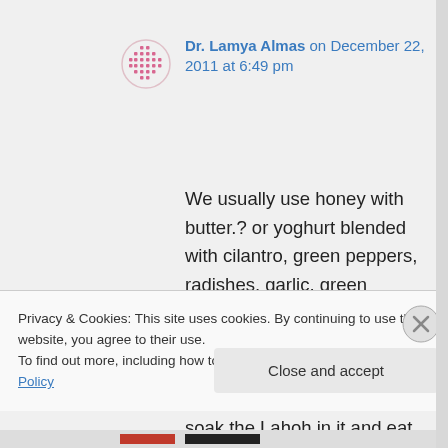Dr. Lamya Almas on December 22, 2011 at 6:49 pm
We usually use honey with butter.? or yoghurt blended with cilantro, green peppers, radishes, garlic, green onions ( just the green part), little cumin, salt to taste . You can make it thick and use it as a spread — although we soak the Lahoh in it and eat it with a spoon.
Privacy & Cookies: This site uses cookies. By continuing to use this website, you agree to their use.
To find out more, including how to control cookies, see here: Cookie Policy
Close and accept